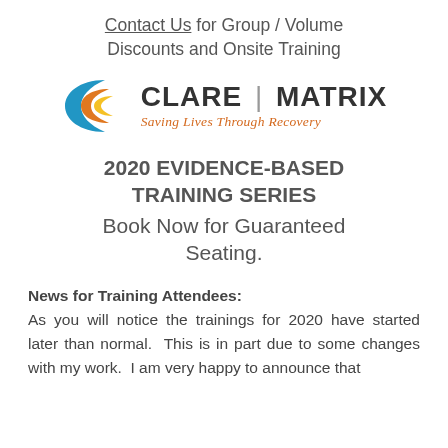Contact Us for Group / Volume Discounts and Onsite Training
[Figure (logo): Clare | Matrix logo with crescent arc icon in blue, orange, and yellow. Tagline: Saving Lives Through Recovery]
2020 EVIDENCE-BASED TRAINING SERIES Book Now for Guaranteed Seating.
News for Training Attendees: As you will notice the trainings for 2020 have started later than normal. This is in part due to some changes with my work. I am very happy to announce that